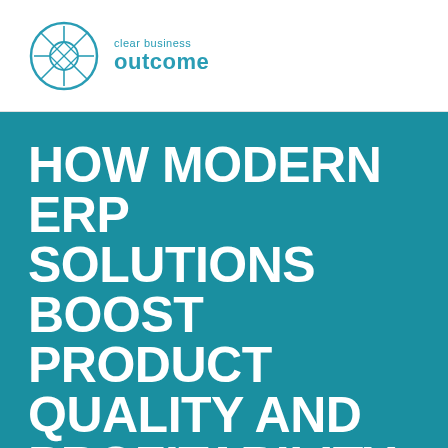[Figure (logo): Clear Business Outcome logo — geometric diamond/crystal shape icon in teal, with text 'clear business outcome' to the right]
HOW MODERN ERP SOLUTIONS BOOST PRODUCT QUALITY AND PROFITABILITY
6th October 2016